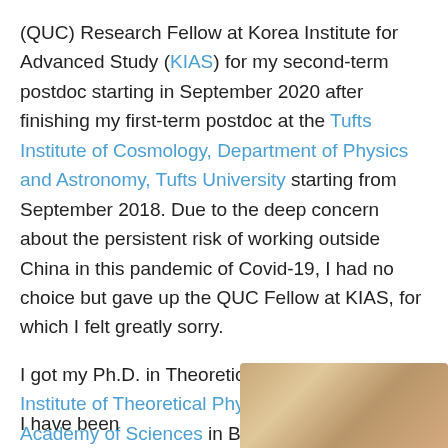(QUC) Research Fellow at Korea Institute for Advanced Study (KIAS) for my second-term postdoc starting in September 2020 after finishing my first-term postdoc at the Tufts Institute of Cosmology, Department of Physics and Astronomy, Tufts University starting from September 2018. Due to the deep concern about the persistent risk of working outside China in this pandemic of Covid-19, I had no choice but gave up the QUC Fellow at KIAS, for which I felt greatly sorry.
I got my Ph.D. in Theoretical Physics from the Institute of Theoretical Physics, Chinese Academy of Sciences in Beijing in 2018.
I have been
[Figure (photo): Partial photo visible at bottom right of page, showing a warm-toned scene, cropped]